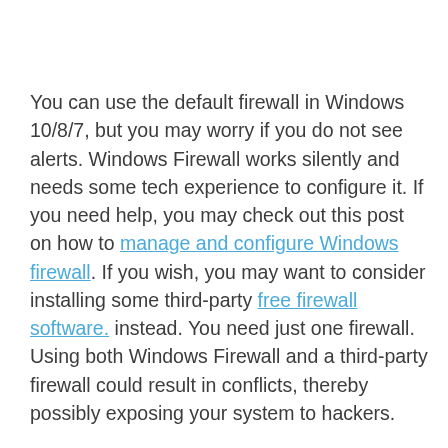You can use the default firewall in Windows 10/8/7, but you may worry if you do not see alerts. Windows Firewall works silently and needs some tech experience to configure it. If you need help, you may check out this post on how to manage and configure Windows firewall. If you wish, you may want to consider installing some third-party free firewall software. instead. You need just one firewall. Using both Windows Firewall and a third-party firewall could result in conflicts, thereby possibly exposing your system to hackers.